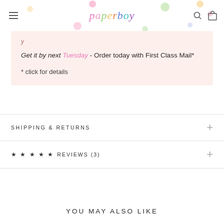paperboy
Get it by next Tuesday - Order today with First Class Mail*
* click for details
SHIPPING & RETURNS
★★★★★  REVIEWS (3)
YOU MAY ALSO LIKE